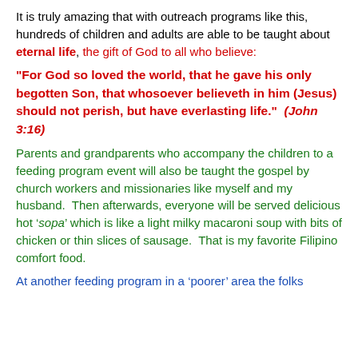It is truly amazing that with outreach programs like this, hundreds of children and adults are able to be taught about eternal life, the gift of God to all who believe:
“For God so loved the world, that he gave his only begotten Son, that whosoever believeth in him (Jesus) should not perish, but have everlasting life.”  (John 3:16)
Parents and grandparents who accompany the children to a feeding program event will also be taught the gospel by church workers and missionaries like myself and my husband.  Then afterwards, everyone will be served delicious hot ‘sopa’ which is like a light milky macaroni soup with bits of chicken or thin slices of sausage.  That is my favorite Filipino comfort food.
At another feeding program in a ‘poorer’ area the folks